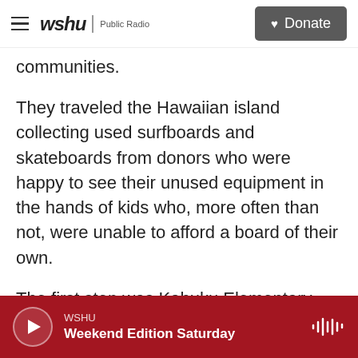wshu | Public Radio — Donate
communities.
They traveled the Hawaiian island collecting used surfboards and skateboards from donors who were happy to see their unused equipment in the hands of kids who, more often than not, were unable to afford a board of their own.
The first stop was Kahuku Elementary School on Oahu's world-renowned North Shore, where Brit had worked as a student-teacher four years earlier. The next stop was Fern Elementary School just outside Honolulu, where teachers asked students wanting a board to write a brief essay on why they
WSHU — Weekend Edition Saturday